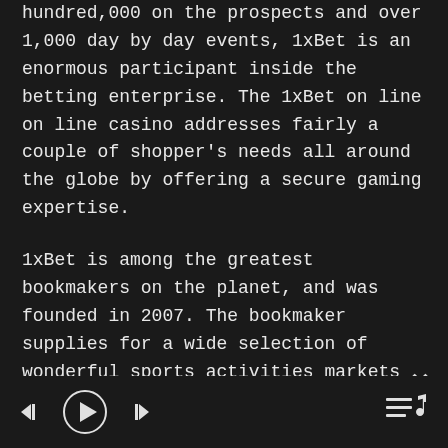hundred,000 on the prospects and over 1,000 day by day events, 1xBet is an enormous participant inside the betting enterprise. The 1xBet on line on line casino addresses fairly a couple of shopper's needs all around the globe by offering a secure gaming expertise.
1xBet is among the greatest bookmakers on the planet, and was founded in 2007. The bookmaker supplies for a wide selection of wonderful sports activities markets to punt on, in addition to a quantity of exciting promotional offers. 1xBet presents a quantity of other products as well, including the likes of Poker, Bingo, and Lotto, amongst other choices. At the time of writing, 1xBet has over four hundred,000 customers, from all the world.
[media controls bar]